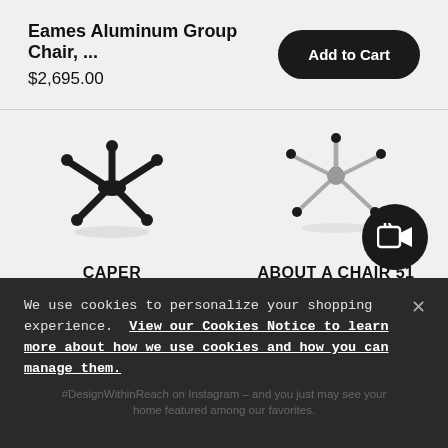Eames Aluminum Group Chair, ...
$2,695.00
Add to Cart
[Figure (photo): Bottom view of Caper Multipurpose Chair base with black casters on light background]
[Figure (photo): Bottom view of About A Chair 51 Task Chair base with chrome legs and black casters on light background]
CAPER MULTIPURPOSE CHAIR
ABOUT A CHAIR 51 TASK CHAIR
We use cookies to personalize your shopping experience. View our Cookies Notice to learn more about how we use cookies and how you can manage them.
Tag #DesignWithinReach on Instagram – and you just may see your home featured among our favorites.